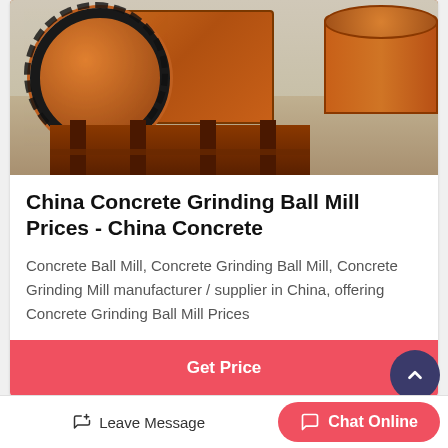[Figure (photo): Orange industrial concrete grinding ball mill machine photographed outdoors on a concrete surface. Large orange cylindrical drum with black gear teeth visible, mounted on orange structural frame legs.]
China Concrete Grinding Ball Mill Prices - China Concrete
Concrete Ball Mill, Concrete Grinding Ball Mill, Concrete Grinding Mill manufacturer / supplier in China, offering Concrete Grinding Ball Mill Prices
Get Price
[Figure (photo): Partially visible industrial machinery image at the bottom of the page (cropped).]
Leave Message
Chat Online